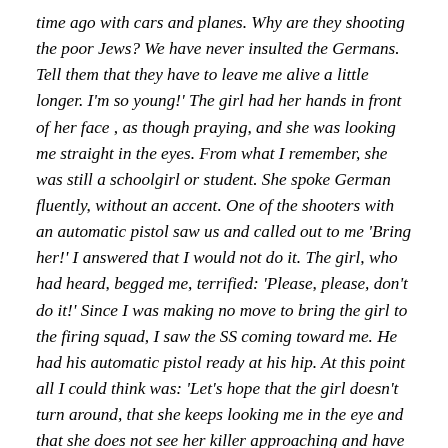time ago with cars and planes. Why are they shooting the poor Jews? We have never insulted the Germans. Tell them that they have to leave me alive a little longer. I'm so young!' The girl had her hands in front of her face , as though praying, and she was looking me straight in the eyes. From what I remember, she was still a schoolgirl or student. She spoke German fluently, without an accent. One of the shooters with an automatic pistol saw us and called out to me 'Bring her!' I answered that I would not do it. The girl, who had heard, begged me, terrified: 'Please, please, don't do it!' Since I was making no move to bring the girl to the firing squad, I saw the SS coming toward me. He had his automatic pistol ready at his hip. At this point all I could think was: 'Let's hope that the girl doesn't turn around, that she keeps looking me in the eye and that she does not see her killer approaching and have to face death.' I kept comforting her over and over, even though I could see the shooter approaching her back. The girl was still begging me and surely didn't hear the shooter coming. Once he right behind the girl, he pulled the trigger. He shot her behind the